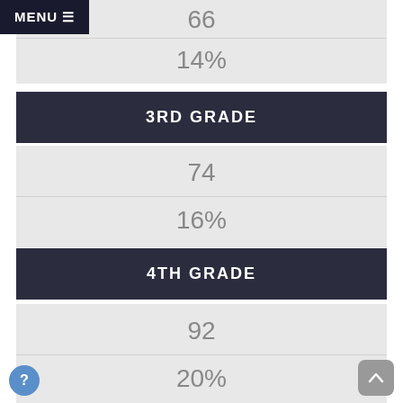66
14%
3RD GRADE
74
16%
4TH GRADE
92
20%